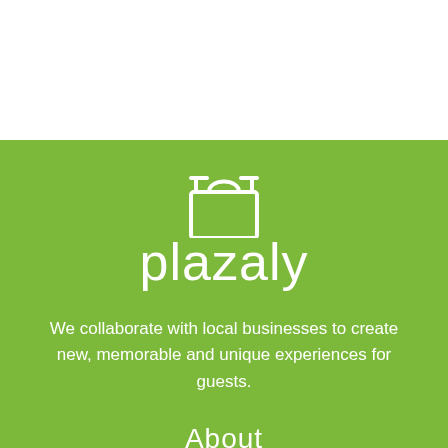[Figure (logo): Plazaly logo with shopping bag icon above the wordmark 'plazaly' in white on green background]
We collaborate with local businesses to create new, memorable and unique experiences for guests.
About